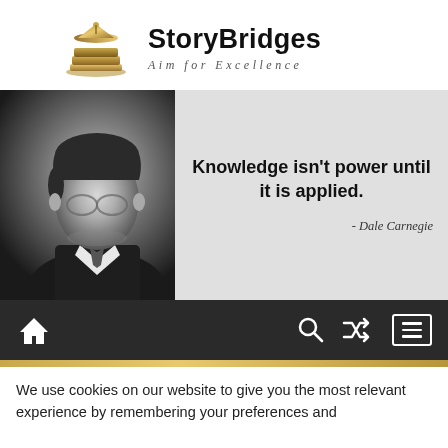[Figure (logo): StoryBridges logo: graduation cap and stacked books icon in gold/bronze tones]
StoryBridges
Aim for Excellence
[Figure (photo): Black and white photo of Dale Carnegie on left side with quote: 'Knowledge isn't power until it is applied.' - Dale Carnegie on grey background]
[Figure (infographic): Navigation bar with home icon, search icon, shuffle icon, and menu icon on dark background]
We use cookies on our website to give you the most relevant experience by remembering your preferences and